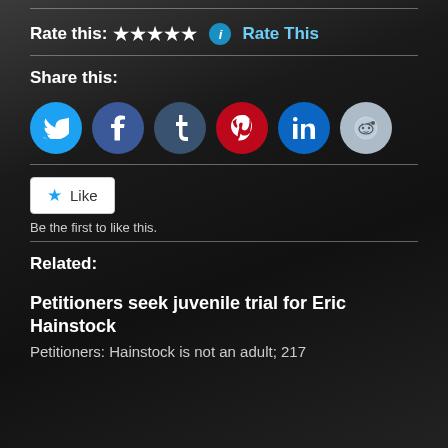Rate this: ★★★★★ i Rate This
Share this:
[Figure (infographic): Social share icons: Twitter (blue), Facebook (dark blue), Tumblr (navy), Pinterest (red), LinkedIn (blue), Reddit (light gray)]
Like
Be the first to like this.
Related:
Petitioners seek juvenile trial for Eric Hainstock
Petitioners: Hainstock is not an adult; 217